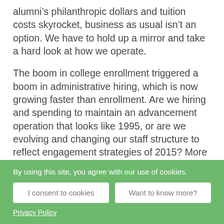alumni's philanthropic dollars and tuition costs skyrocket, business as usual isn't an option. We have to hold up a mirror and take a hard look at how we operate.
The boom in college enrollment triggered a boom in administrative hiring, which is now growing faster than enrollment. Are we hiring and spending to maintain an advancement operation that looks like 1995, or are we evolving and changing our staff structure to reflect engagement strategies of 2015? More than one school has made news recently because the roof caved in and they were forced to close up shop. We must be
By using this site, you agree with our use of cookies.
I consent to cookies
Want to know more?
Privacy Policy